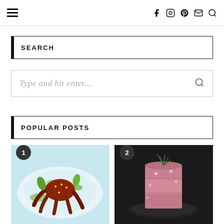Navigation bar with hamburger menu and social icons: facebook, instagram, pinterest, email, search
SEARCH
Type and hit enter...
POPULAR POSTS
[Figure (photo): Food photo 1 with badge number 1: octopus dish on a light blue plate with green garnishes]
[Figure (photo): Food photo 2 with badge number 2: pink layered dessert/cake topped with herbs and small flowers on dark background]